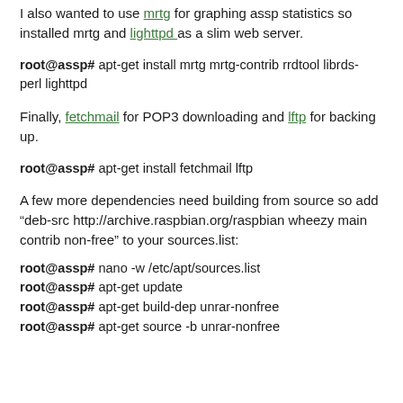I also wanted to use mrtg for graphing assp statistics so installed mrtg and lighttpd as a slim web server.
root@assp# apt-get install mrtg mrtg-contrib rrdtool librds-perl lighttpd
Finally, fetchmail for POP3 downloading and lftp for backing up.
root@assp# apt-get install fetchmail lftp
A few more dependencies need building from source so add “deb-src http://archive.raspbian.org/raspbian wheezy main contrib non-free” to your sources.list:
root@assp# nano -w /etc/apt/sources.list
root@assp# apt-get update
root@assp# apt-get build-dep unrar-nonfree
root@assp# apt-get source -b unrar-nonfree